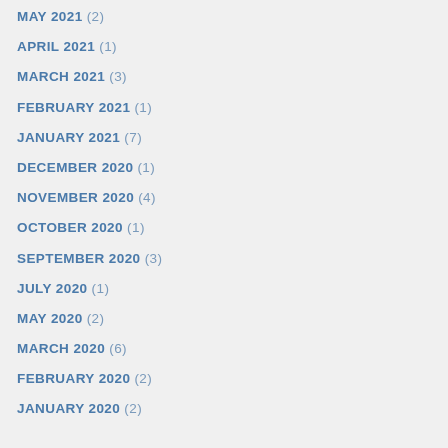MAY 2021 (2)
APRIL 2021 (1)
MARCH 2021 (3)
FEBRUARY 2021 (1)
JANUARY 2021 (7)
DECEMBER 2020 (1)
NOVEMBER 2020 (4)
OCTOBER 2020 (1)
SEPTEMBER 2020 (3)
JULY 2020 (1)
MAY 2020 (2)
MARCH 2020 (6)
FEBRUARY 2020 (2)
JANUARY 2020 (2)